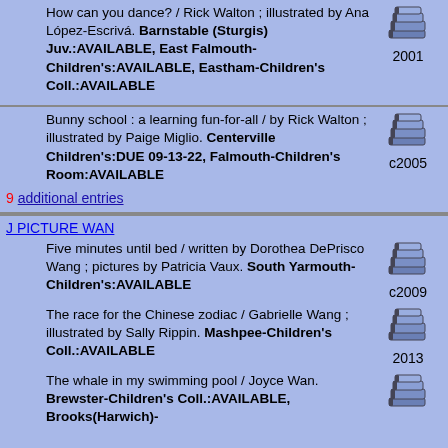How can you dance? / Rick Walton ; illustrated by Ana López-Escrivá. Barnstable (Sturgis) Juv.:AVAILABLE, East Falmouth-Children's:AVAILABLE, Eastham-Children's Coll.:AVAILABLE 2001
Bunny school : a learning fun-for-all / by Rick Walton ; illustrated by Paige Miglio. Centerville Children's:DUE 09-13-22, Falmouth-Children's Room:AVAILABLE c2005
9 additional entries
J PICTURE WAN
Five minutes until bed / written by Dorothea DePrisco Wang ; pictures by Patricia Vaux. South Yarmouth-Children's:AVAILABLE c2009
The race for the Chinese zodiac / Gabrielle Wang ; illustrated by Sally Rippin. Mashpee-Children's Coll.:AVAILABLE 2013
The whale in my swimming pool / Joyce Wan. Brewster-Children's Coll.:AVAILABLE, Brooks(Harwich)-